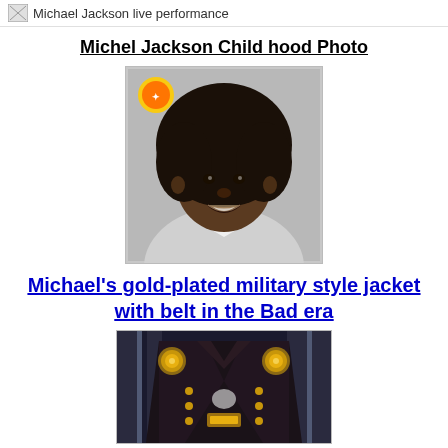[Figure (photo): Broken image placeholder: Michael Jackson live performance]
Michel Jackson Child hood Photo
[Figure (photo): Black and white childhood photo of Michael Jackson as a young boy with an afro hairstyle, smiling, wearing a light-colored outfit. A colorful logo/watermark appears in the upper left corner.]
Michael's gold-plated military style jacket with belt in the Bad era
[Figure (photo): Dark military style jacket with gold ornamental decorations/buttons on a display stand with bright background lighting.]